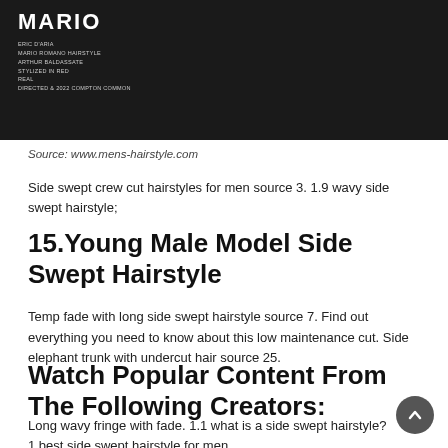[Figure (photo): Dark/black background image with white text overlay showing 'MARIO' in bold large letters and smaller subtext lines below it]
Source: www.mens-hairstyle.com
Side swept crew cut hairstyles for men source 3. 1.9 wavy side swept hairstyle;
15.Young Male Model Side Swept Hairstyle
Temp fade with long side swept hairstyle source 7. Find out everything you need to know about this low maintenance cut. Side elephant trunk with undercut hair source 25.
Watch Popular Content From The Following Creators:
Long wavy fringe with fade. 1.1 what is a side swept hairstyle? 1 best side swept hairstyle for men.